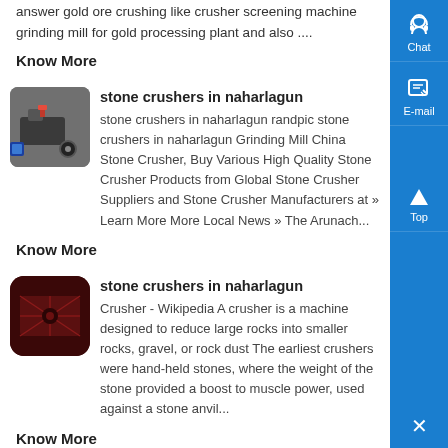answer gold ore crushing like crusher screening machine grinding mill for gold processing plant and also ....
Know More
[Figure (photo): Industrial stone crusher machine thumbnail image]
stone crushers in naharlagun
stone crushers in naharlagun randpic stone crushers in naharlagun Grinding Mill China Stone Crusher, Buy Various High Quality Stone Crusher Products from Global Stone Crusher Suppliers and Stone Crusher Manufacturers at » Learn More More Local News » The Arunach...
Know More
[Figure (photo): Dark red stone crusher machine thumbnail image]
stone crushers in naharlagun
Crusher - Wikipedia A crusher is a machine designed to reduce large rocks into smaller rocks, gravel, or rock dust The earliest crushers were hand-held stones, where the weight of the stone provided a boost to muscle power, used against a stone anvil...
Know More